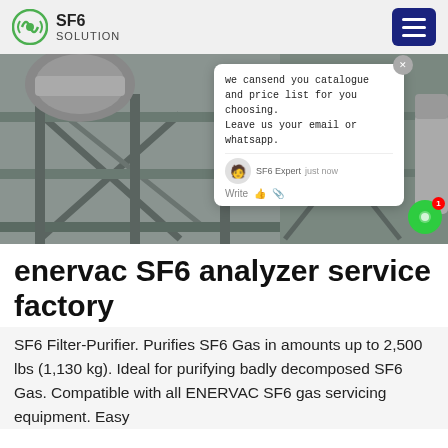SF6 SOLUTION
[Figure (photo): Industrial SF6 gas servicing equipment on metal scaffolding structure at an electrical substation, with a worker in blue jacket visible. A chat popup overlay is present in the lower right of the image.]
enervac SF6 analyzer service factory
SF6 Filter-Purifier. Purifies SF6 Gas in amounts up to 2,500 lbs (1,130 kg). Ideal for purifying badly decomposed SF6 Gas. Compatible with all ENERVAC SF6 gas servicing equipment. Easy